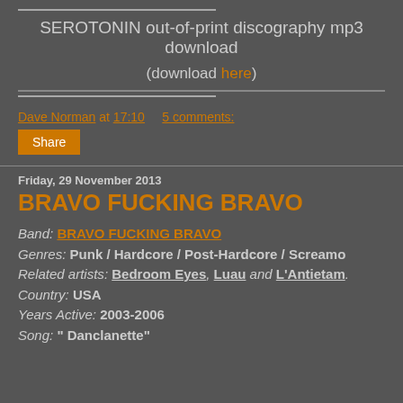SEROTONIN out-of-print discography mp3 download
(download here)
Dave Norman at 17:10   5 comments:
Share
Friday, 29 November 2013
BRAVO FUCKING BRAVO
Band: BRAVO FUCKING BRAVO
Genres: Punk / Hardcore / Post-Hardcore / Screamo
Related artists: Bedroom Eyes, Luau and L'Antietam.
Country: USA
Years Active: 2003-2006
Song: " Danclanette"